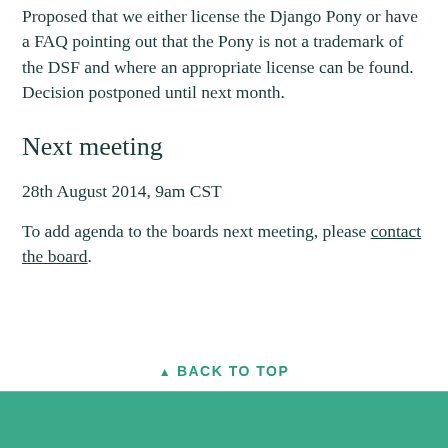Proposed that we either license the Django Pony or have a FAQ pointing out that the Pony is not a trademark of the DSF and where an appropriate license can be found. Decision postponed until next month.
Next meeting
28th August 2014, 9am CST
To add agenda to the boards next meeting, please contact the board.
↑ BACK TO TOP